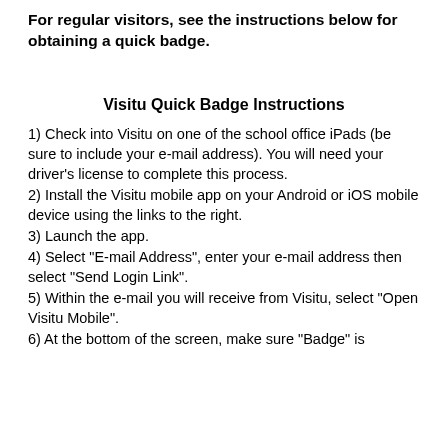For regular visitors, see the instructions below for obtaining a quick badge.
Visitu Quick Badge Instructions
1) Check into Visitu on one of the school office iPads (be sure to include your e-mail address). You will need your driver's license to complete this process.
2) Install the Visitu mobile app on your Android or iOS mobile device using the links to the right.
3) Launch the app.
4) Select "E-mail Address", enter your e-mail address then select "Send Login Link".
5) Within the e-mail you will receive from Visitu, select "Open Visitu Mobile".
6) At the bottom of the screen, make sure "Badge" is